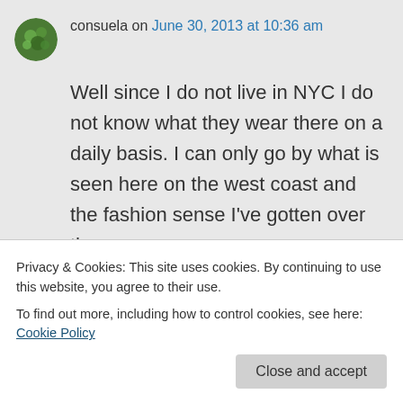consuela on June 30, 2013 at 10:36 am
Well since I do not live in NYC I do not know what they wear there on a daily basis. I can only go by what is seen here on the west coast and the fashion sense I've gotten over the years.
Sorry I brought the whole thing up.
Privacy & Cookies: This site uses cookies. By continuing to use this website, you agree to their use. To find out more, including how to control cookies, see here: Cookie Policy
Close and accept
June 30, 2013 at 10:44 am